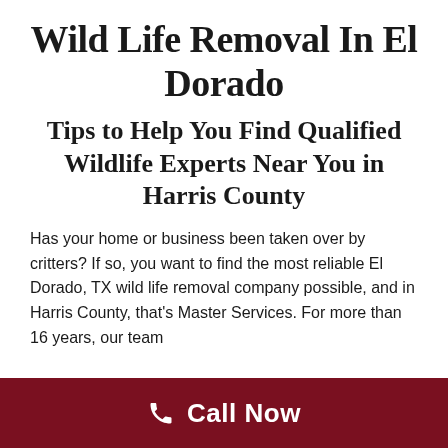Wild Life Removal In El Dorado
Tips to Help You Find Qualified Wildlife Experts Near You in Harris County
Has your home or business been taken over by critters? If so, you want to find the most reliable El Dorado, TX wild life removal company possible, and in Harris County, that's Master Services. For more than 16 years, our team
[Figure (other): Dark red call-to-action bar at the bottom with a phone icon and 'Call Now' text in white]